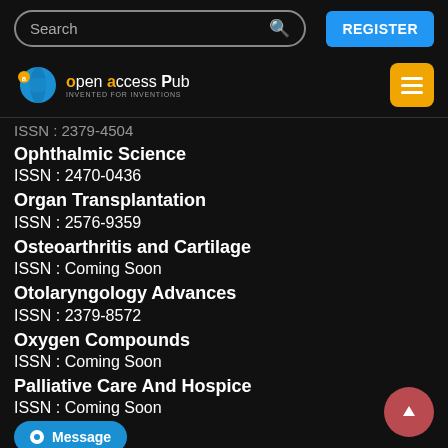[Figure (screenshot): Search bar with placeholder text and register button in dark header]
[Figure (logo): Open Access Pub logo with blue globe and orange lock icon, tagline: Invented for Inventions]
ISSN : 2379-4504 (partially visible at top)
Ophthalmic Science
ISSN : 2470-0436
Organ Transplantation
ISSN : 2576-9359
Osteoarthritis and Cartilage
ISSN : Coming Soon
Otolaryngology Advances
ISSN : 2379-8572
Oxygen Compounds
ISSN : Coming Soon
Palliative Care And Hospice
ISSN : Coming Soon
ISSN : Coming Soon (partially visible at bottom)